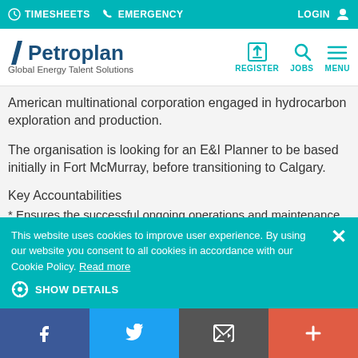TIMESHEETS  EMERGENCY  LOGIN
[Figure (screenshot): Petroplan logo with tagline 'Global Energy Talent Solutions' and navigation icons for Register, Jobs, Menu]
American multinational corporation engaged in hydrocarbon exploration and production.
The organisation is looking for an E&I Planner to be based initially in Fort McMurray, before transitioning to Calgary.
Key Accountabilities
* Ensures the successful ongoing operations and maintenance of
This website uses cookies to improve user experience. By using our website you consent to all cookies in accordance with our Cookie Policy. Read more
SHOW DETAILS
Facebook  Twitter  Email  +